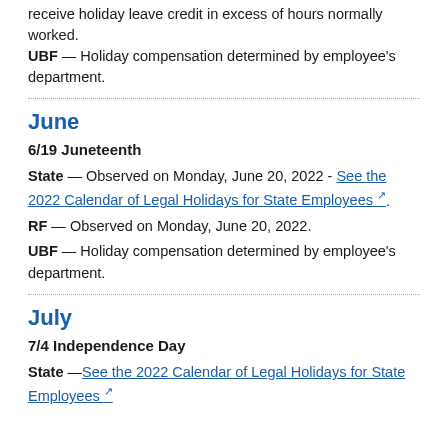receive holiday leave credit in excess of hours normally worked. UBF — Holiday compensation determined by employee's department.
June
6/19 Juneteenth
State — Observed on Monday, June 20, 2022 - See the 2022 Calendar of Legal Holidays for State Employees.
RF — Observed on Monday, June 20, 2022.
UBF — Holiday compensation determined by employee's department.
July
7/4 Independence Day
State —See the 2022 Calendar of Legal Holidays for State Employees.